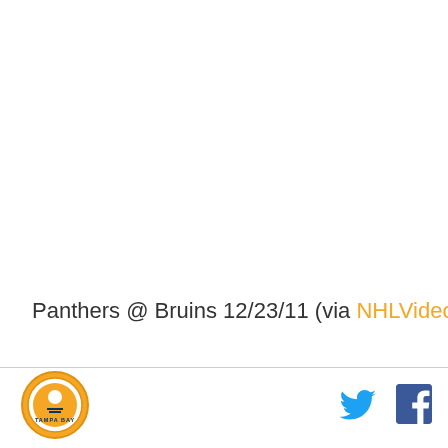Panthers @ Bruins 12/23/11 (via NHLVideo)
[Figure (logo): Tampa Bay circular logo with orange and yellow design]
[Figure (logo): Twitter bird icon in blue]
[Figure (logo): Facebook f icon in dark blue]